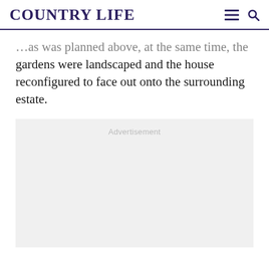COUNTRY LIFE
…as was planned above, at the same time, the gardens were landscaped and the house reconfigured to face out onto the surrounding estate.
[Figure (other): Advertisement placeholder box with light grey background and 'Advertisement' label text centered at top]